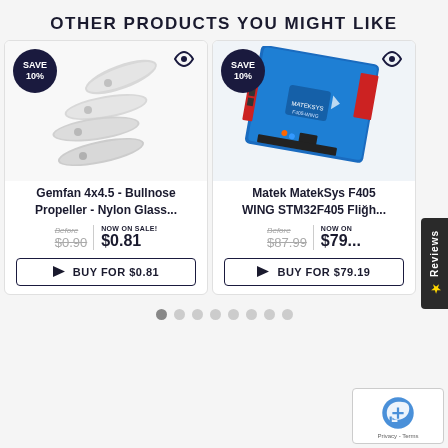OTHER PRODUCTS YOU MIGHT LIKE
[Figure (photo): Gemfan 4x4.5 Bullnose propellers in white/grey, four blades shown]
Gemfan 4x4.5 - Bullnose Propeller - Nylon Glass...
Before $0.90  NOW ON SALE! $0.81
BUY FOR $0.81
[Figure (photo): Matek MatekSys F405 WING STM32F405 Flight controller blue circuit board with red and black connectors]
Matek MatekSys F405 WING STM32F405 Fligh...
Before $87.99  NOW ON SALE! $79...
BUY FOR $79.19